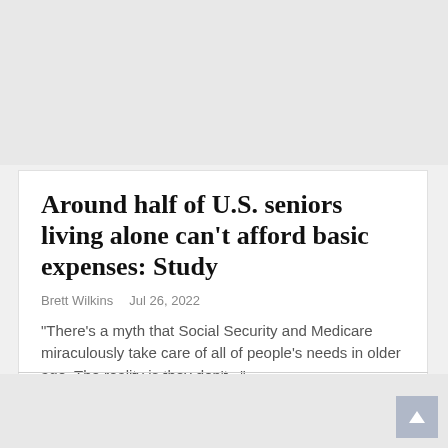[Figure (other): Gray banner/image placeholder at top of page]
Around half of U.S. seniors living alone can't afford basic expenses: Study
Brett Wilkins   Jul 26, 2022
"There's a myth that Social Security and Medicare miraculously take care of all of people's needs in older age. The reality is they don't..."
READ MORE...
NOTICIA PRINCIPAL